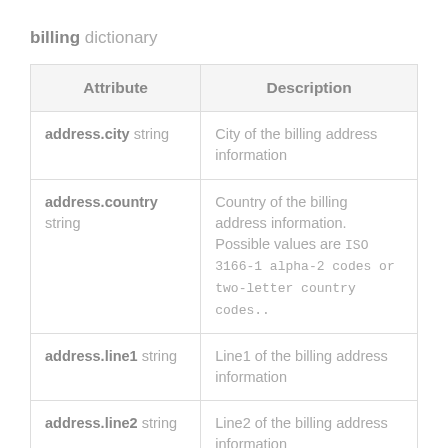billing dictionary
| Attribute | Description |
| --- | --- |
| address.city string | City of the billing address information |
| address.country string | Country of the billing address information. Possible values are ISO 3166-1 alpha-2 codes or two-letter country codes.. |
| address.line1 string | Line1 of the billing address information |
| address.line2 string | Line2 of the billing address information |
| address.postal_code string | Postal Code of the billing address information |